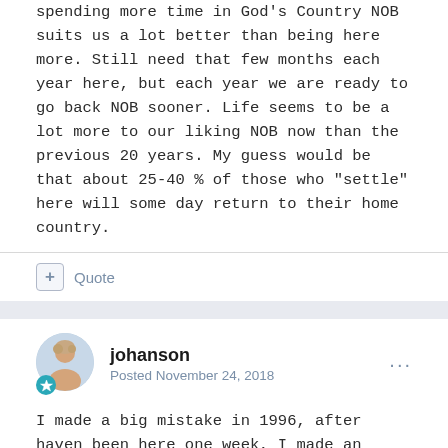spending more time in God's Country NOB suits us a lot better than being here more. Still need that few months each year here, but each year we are ready to go back NOB sooner. Life seems to be a lot more to our liking NOB now than the previous 20 years. My guess would be that about 25-40 % of those who "settle" here will some day return to their home country.
+ Quote
johanson
Posted November 24, 2018
I made a big mistake in 1996, after haven been here one week, I made an offer on a home at the top of Ajijic with only forest behind me. It was the best stupid mistake I ever made. I started coming down 4 months per year and I came down a little more each year. Now I go back three times per year for a month at a time.